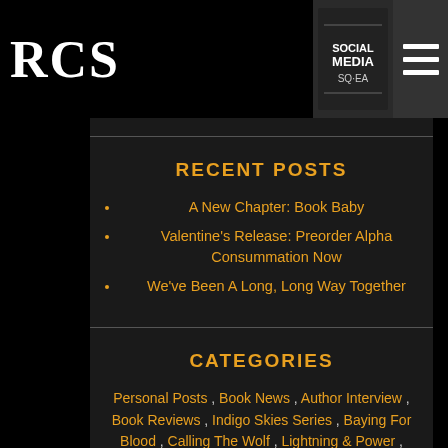RCS
RECENT POSTS
A New Chapter: Book Baby
Valentine's Release: Preorder Alpha Consummation Now
We've Been A Long, Long Way Together
CATEGORIES
Personal Posts , Book News , Author Interview , Book Reviews , Indigo Skies Series , Baying For Blood , Calling The Wolf , Lightning & Power , Preying On Time , New